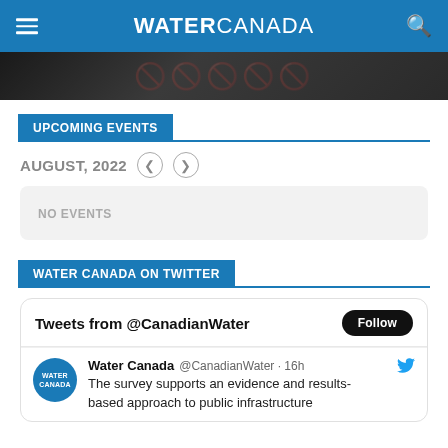WATER CANADA
[Figure (photo): Dark banner image with partially visible text]
UPCOMING EVENTS
AUGUST, 2022
NO EVENTS
WATER CANADA ON TWITTER
Tweets from @CanadianWater
Water Canada @CanadianWater · 16h
The survey supports an evidence and results-based approach to public infrastructure